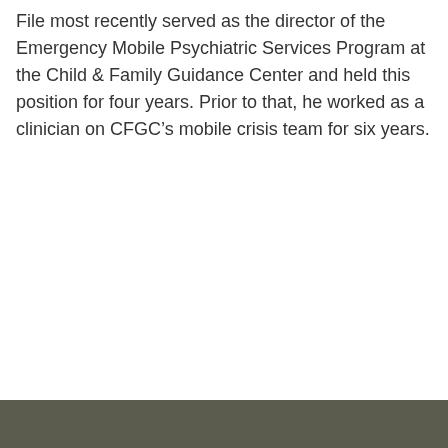File most recently served as the director of the Emergency Mobile Psychiatric Services Program at the Child & Family Guidance Center and held this position for four years. Prior to that, he worked as a clinician on CFGC's mobile crisis team for six years.